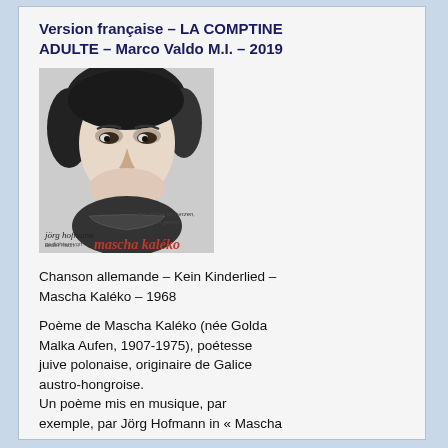Version française – LA COMPTINE ADULTE – Marco Valdo M.I. – 2019
[Figure (photo): Black and white album cover photo of a woman (Mascha Kaléko) looking slightly downward, with album title text 'jörg hofmann... mascha kaléko' and subtitle 'den herbst im herzen, winter im gemüt']
Chanson allemande – Kein Kinderlied – Mascha Kaléko – 1968
Poème de Mascha Kaléko (née Golda Malka Aufen, 1907-1975), poétesse juive polonaise, originaire de Galice austro-hongroise. Un poème mis en musique, par exemple, par Jörg Hofmann in « Mascha Kaléko - Den Herbst im Herzen, Winter im Gemüt ».